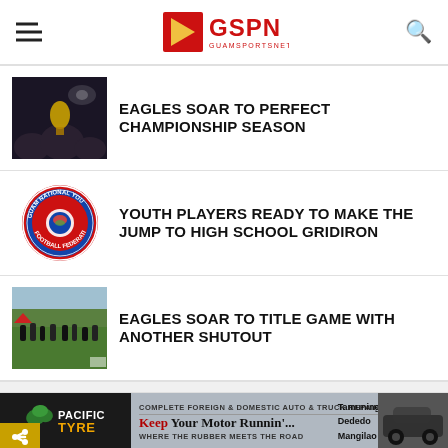GSPN - Guam Sports Network
[Figure (photo): Dark night scene with people celebrating, holding trophy]
EAGLES SOAR TO PERFECT CHAMPIONSHIP SEASON
[Figure (logo): Guam National Youth Football Federation circular badge/logo in red and blue]
YOUTH PLAYERS READY TO MAKE THE JUMP TO HIGH SCHOOL GRIDIRON
[Figure (photo): Football players on a green grass field during a game]
EAGLES SOAR TO TITLE GAME WITH ANOTHER SHUTOUT
[Figure (infographic): Pacific Tyre advertisement banner: Complete Foreign & Domestic Auto & Truck Repair, Keep Your Motor Runnin'... Where the Rubber Meets the Road, Tamuning Dededo Mangilao]